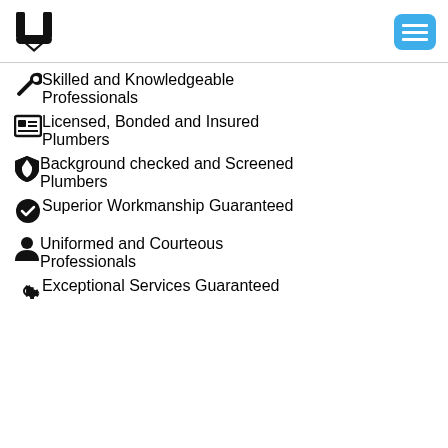[Figure (logo): U-shaped logo mark in black]
[Figure (other): Blue rounded rectangle hamburger menu button with three white horizontal lines]
Skilled and Knowledgeable Professionals
Licensed, Bonded and Insured Plumbers
Background checked and Screened Plumbers
Superior Workmanship Guaranteed
Uniformed and Courteous Professionals
Exceptional Services Guaranteed